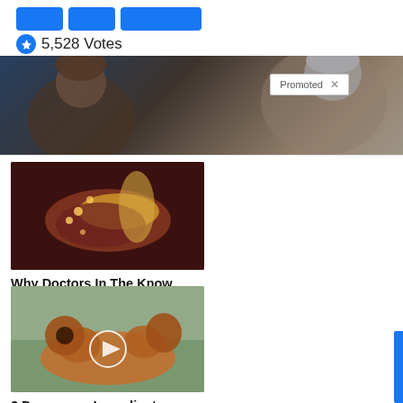5,528 Votes
[Figure (photo): Hero banner image showing two people, one with brown hair and one with white hair, with a 'Promoted X' badge overlay]
[Figure (photo): Medical illustration of pancreas/intestinal organs with glowing highlights]
Why Doctors In The Know No Longer Prescribe Metformin
112,697
[Figure (photo): Dog lying on its back on a teal surface, with a video play button overlay]
3 Dangerous Ingredients You're Feeding Your Dog
448